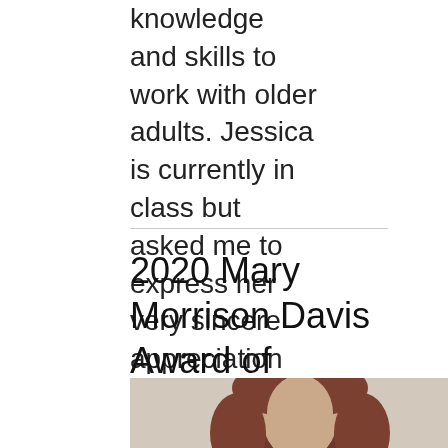knowledge and skills to work with older adults. Jessica is currently in class but asked me to express her very sincere appreciation for the award.
2020 Mary Morrison Davis Award of Excellence Recipient
[Figure (photo): Portrait photo of a woman with brown hair against a beige/neutral background, cropped at the top of the frame showing head and shoulders.]